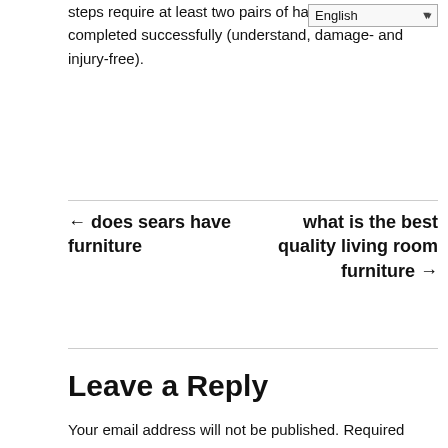steps require at least two pairs of hands to be completed successfully (understand, damage- and injury-free).
← does sears have furniture
what is the best quality living room furniture →
Leave a Reply
Your email address will not be published. Required